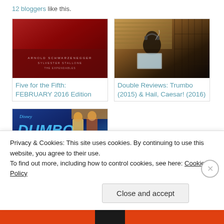12 bloggers like this.
[Figure (photo): Movie poster thumbnail — red-toned action film poster with weapons]
Five for the Fifth: FEBRUARY 2016 Edition
[Figure (photo): Movie still — person with headphones in a dimly lit room with bookshelves]
Double Reviews: Trumbo (2015) & Hail, Caesar! (2016)
[Figure (photo): Collage thumbnail — Disney Dumbo title with two standing figures]
Privacy & Cookies: This site uses cookies. By continuing to use this website, you agree to their use.
To find out more, including how to control cookies, see here: Cookie Policy
Close and accept